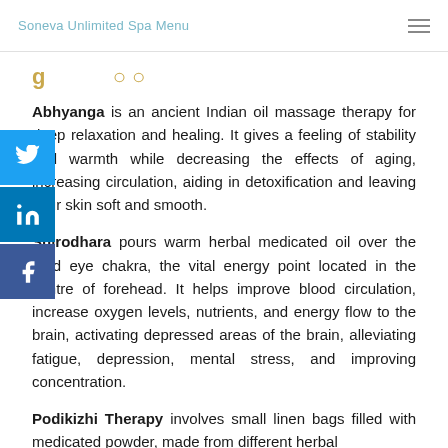Soneva Unlimited Spa Menu
Abhyanga is an ancient Indian oil massage therapy for deep relaxation and healing. It gives a feeling of stability and warmth while decreasing the effects of aging, increasing circulation, aiding in detoxification and leaving your skin soft and smooth.
Shirodhara pours warm herbal medicated oil over the third eye chakra, the vital energy point located in the centre of forehead. It helps improve blood circulation, increase oxygen levels, nutrients, and energy flow to the brain, activating depressed areas of the brain, alleviating fatigue, depression, mental stress, and improving concentration.
Podikizhi Therapy involves small linen bags filled with medicated powder, made from different herbal plants, which are heated and applied all over the